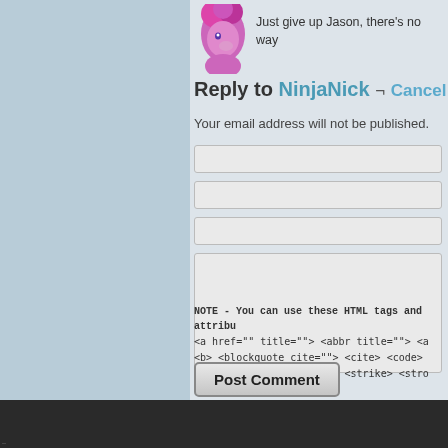[Figure (illustration): Pink cartoon pony avatar image in top-right area of comment section]
Just give up Jason, there's no way
Reply to NinjaNick ¬ Cancel reply
Your email address will not be published.
NOTE - You can use these HTML tags and attribu <a href="" title=""> <abbr title=""> <a <b> <blockquote cite=""> <cite> <code> <em> <i> <q cite=""> <s> <strike> <stro
Post Comment